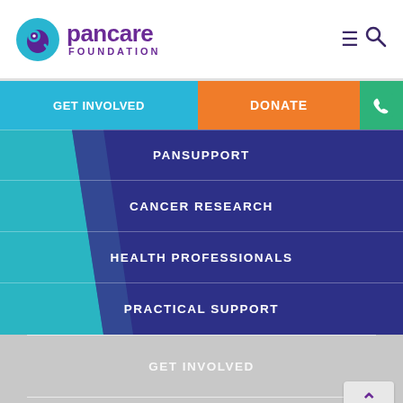[Figure (logo): Pancare Foundation logo with teal spiral icon and purple text]
GET INVOLVED | DONATE | [phone icon]
PANSUPPORT
CANCER RESEARCH
HEALTH PROFESSIONALS
PRACTICAL SUPPORT
GET INVOLVED